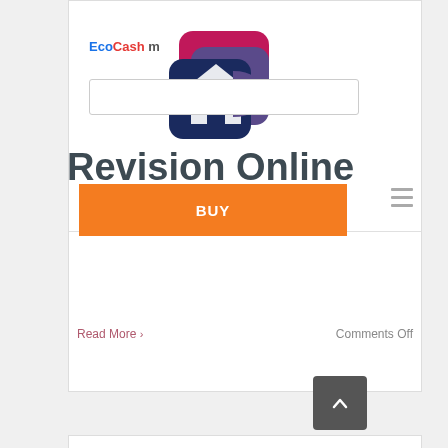[Figure (logo): EcoCash logo with text 'EcoCash m' and a colorful house/building icon in red, purple, and dark blue]
[Figure (screenshot): Search input box (text field)]
Revision Online
[Figure (other): Orange BUY button]
Read More >
Comments Off
[Figure (other): Dark grey back-to-top button with upward chevron arrow]